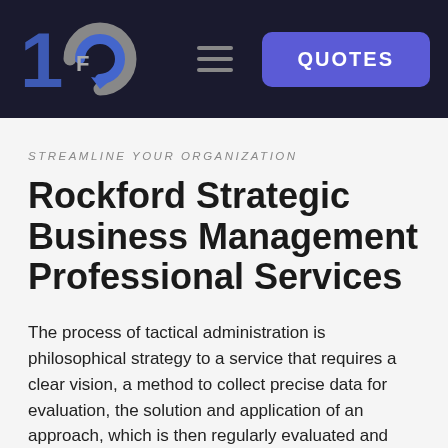1CFO [logo] | QUOTES
STREAMLINE YOUR ORGANIZATION
Rockford Strategic Business Management Professional Services
The process of tactical administration is philosophical strategy to a service that requires a clear vision, a method to collect precise data for evaluation, the solution and application of an approach, which is then regularly evaluated and also upgraded in the